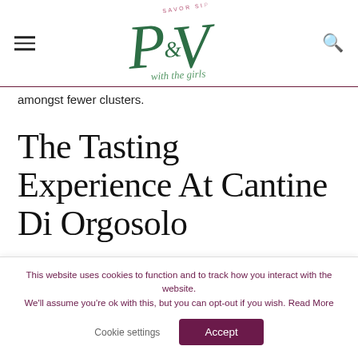[Figure (logo): P&V blog logo with cursive lettering and 'SAVOR SIPPING' text, dark green handwritten style]
amongst fewer clusters.
The Tasting Experience At Cantine Di Orgosolo
[Figure (photo): Partially visible article image with gray/beige background and dark triangular corner element]
This website uses cookies to function and to track how you interact with the website. We'll assume you're ok with this, but you can opt-out if you wish. Read More
Cookie settings
Accept